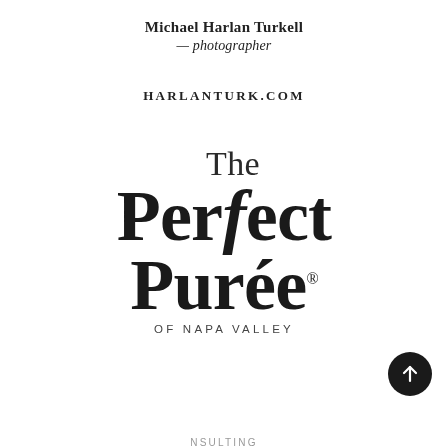Michael Harlan Turkell
— photographer
HARLANTURK.COM
[Figure (logo): The Perfect Purée of Napa Valley logo in large serif font]
[Figure (other): Partial consulting logo/text at bottom of page]